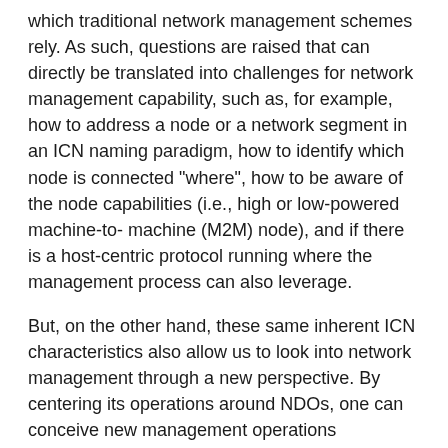which traditional network management schemes rely. As such, questions are raised that can directly be translated into challenges for network management capability, such as, for example, how to address a node or a network segment in an ICN naming paradigm, how to identify which node is connected "where", how to be aware of the node capabilities (i.e., high or low-powered machine-to- machine (M2M) node), and if there is a host-centric protocol running where the management process can also leverage.
But, on the other hand, these same inherent ICN characteristics also allow us to look into network management through a new perspective. By centering its operations around NDOs, one can conceive new management operations addressing, for example, per-content management or access control, as well as analyzing performance per NDO instead of per link or node. Moreover, such considerations can also be used to manage operational aspects of ICN mechanisms themselves. For example, [NDN-MGMT] reutilizes inherent content-centric